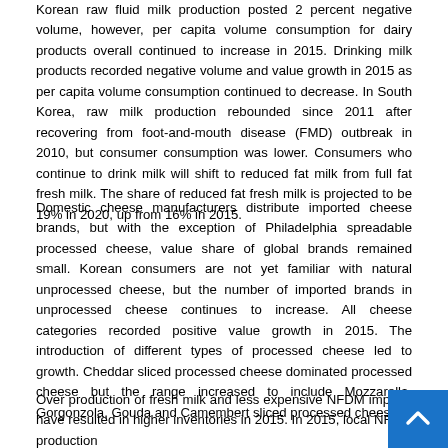Korean raw fluid milk production posted 2 percent negative volume, however, per capita volume consumption for dairy products overall continued to increase in 2015. Drinking milk products recorded negative volume and value growth in 2015 as per capita volume consumption continued to decrease. In South Korea, raw milk production rebounded since 2011 after recovering from foot-and-mouth disease (FMD) outbreak in 2010, but consumer consumption was lower. Consumers who continue to drink milk will shift to reduced fat milk from full fat fresh milk. The share of reduced fat fresh milk is projected to be 19% in 2020, up from 16% in 2015.
Domestic cheese manufacturers distribute imported cheese brands, but with the exception of Philadelphia spreadable processed cheese, value share of global brands remained small. Korean consumers are not yet familiar with natural unprocessed cheese, but the number of imported brands in unprocessed cheese continues to increase. All cheese categories recorded positive value growth in 2015. The introduction of different types of processed cheese led to growth. Cheddar sliced processed cheese dominated processed cheese but the range increased to include Mozzarella, Gorgonzola, Gouda and Camembert sliced processed cheeses.
Over production of fresh milk and less expensive NFDM imports have resulted in higher inventories in 2015. In 2015, local NFDM production